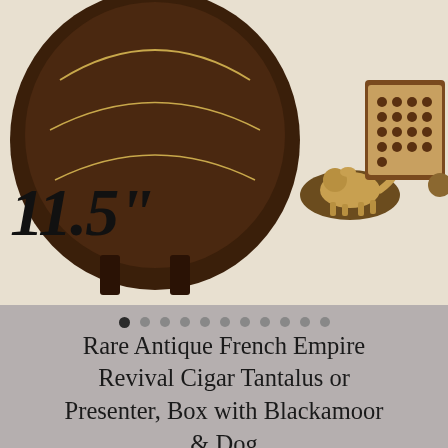[Figure (photo): Antique French Empire Revival Cigar Tantalus box with brass dog figurine and Blackamoor figure, shown open with cigar holders visible. Large '11.5"' measurement text overlaid on the left side of the image.]
11.5"
[Figure (infographic): Carousel navigation dots — one filled dark dot followed by ten lighter gray dots]
Rare Antique French Empire Revival Cigar Tantalus or Presenter, Box with Blackamoor & Dog